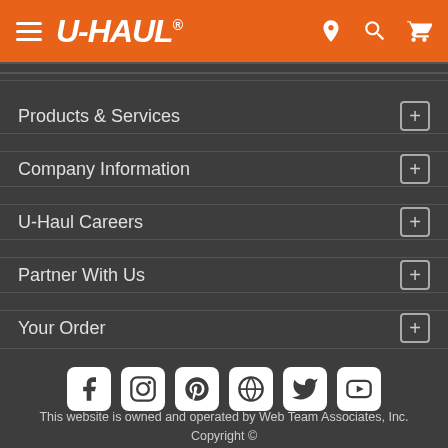U-HAUL navigation header with hamburger menu, logo, location, search, and cart icons
Products & Services
Company Information
U-Haul Careers
Partner With Us
Your Order
[Figure (infographic): Social media icons: Facebook, Instagram, Pinterest, WordPress, Twitter, YouTube]
This website is owned and operated by Web Team Associates, Inc. Copyright © 2022 U-Haul International, Inc.
All rights reserved.
Arbitration | Privacy Policy | Terms of Use | Copyright Takedown Policy | U-Haul Locations